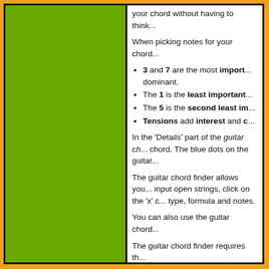your chord without having to think...
When picking notes for your chord...
3 and 7 are the most important... dominant.
The 1 is the least important...
The 5 is the second least im...
Tensions add interest and c...
In the 'Details' part of the guitar ch... chord. The blue dots on the guitar...
The guitar chord finder allows you... input open strings, click on the 'x' c... type, formula and notes.
You can also use the guitar chord...
The guitar chord finder requires th...